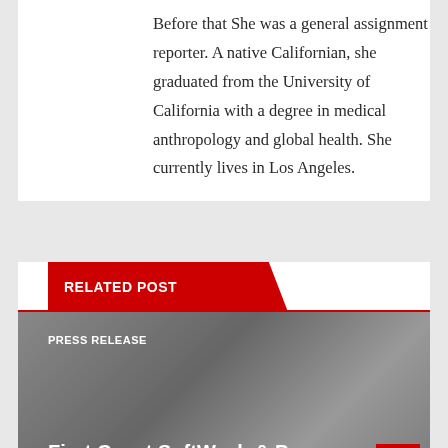Before that She was a general assignment reporter. A native Californian, she graduated from the University of California with a degree in medical anthropology and global health. She currently lives in Los Angeles.
RELATED POST
[Figure (photo): Photo of people in an office or meeting setting, overlaid with a 'PRESS RELEASE' label and the beginning of an article title 'First Coast SoftWash & Paver Sealing Offers Top-of-the-']